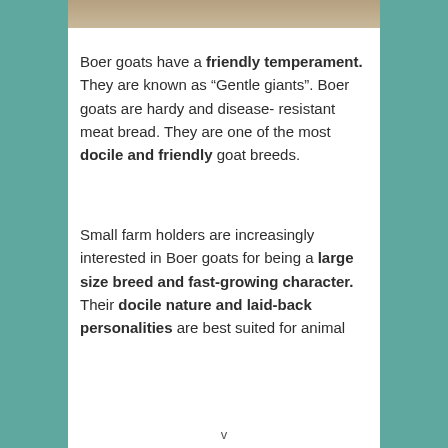[Figure (photo): Partial top view of white/cream Boer goats, cropped at top of page]
Boer goats have a friendly temperament. They are known as “Gentle giants”. Boer goats are hardy and disease- resistant meat bread. They are one of the most docile and friendly goat breeds.
Small farm holders are increasingly interested in Boer goats for being a large size breed and fast-growing character. Their docile nature and laid-back personalities are best suited for animal
v